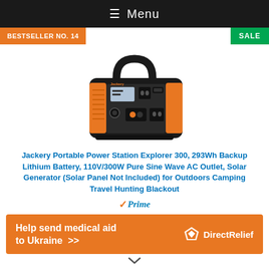≡ Menu
BESTSELLER NO. 14
SALE
[Figure (photo): Jackery Portable Power Station Explorer 300 product photo — black and orange portable battery unit with handle, display screen, AC outlets, USB ports, and DC ports on front face.]
Jackery Portable Power Station Explorer 300, 293Wh Backup Lithium Battery, 110V/300W Pure Sine Wave AC Outlet, Solar Generator (Solar Panel Not Included) for Outdoors Camping Travel Hunting Blackout
[Figure (logo): Amazon Prime logo with checkmark]
Help send medical aid to Ukraine >> DirectRelief